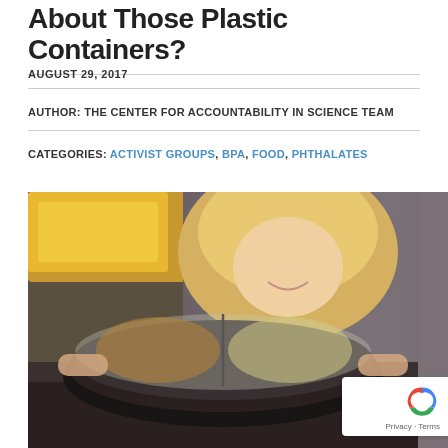About Those Plastic Containers?
AUGUST 29, 2017
AUTHOR: THE CENTER FOR ACCOUNTABILITY IN SCIENCE TEAM
CATEGORIES: ACTIVIST GROUPS, BPA, FOOD, PHTHALATES
[Figure (photo): View from inside a microwave of a woman smiling and placing a plastic divided meal container into the microwave. The container has two compartments with food visible through a plastic covering.]